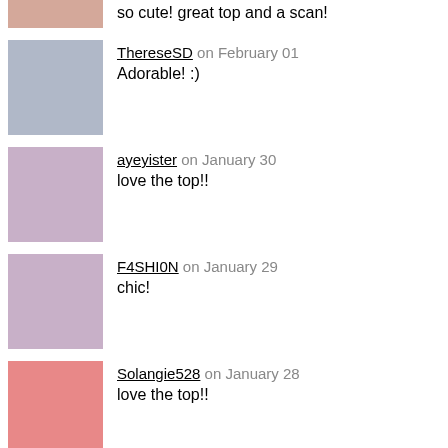so cute! great top and a scan!
ThereseSD on February 01
Adorable! :)
ayeyister on January 30
love the top!!
F4SHI0N on January 29
chic!
Solangie528 on January 28
love the top!!
lovingunicorns on January 28
ADORABLE!!!!
angelchiq on January 28
nice polka dots top u got!
Squarectomy on January 27
That top is so amazing. Love Grace.
somewhereovertherain on January 27
nice shoes and top